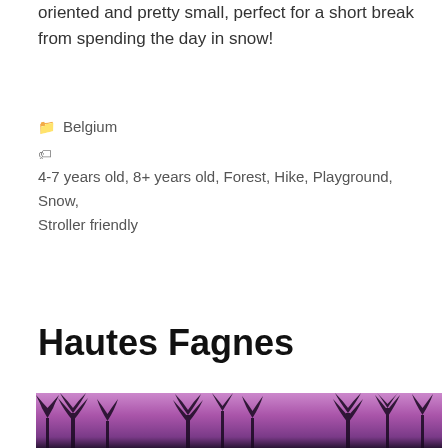oriented and pretty small, perfect for a short break from spending the day in snow!
Belgium
4-7 years old, 8+ years old, Forest, Hike, Playground, Snow, Stroller friendly
Hautes Fagnes
[Figure (photo): A photo showing bare winter trees silhouetted against a purple/violet sky]